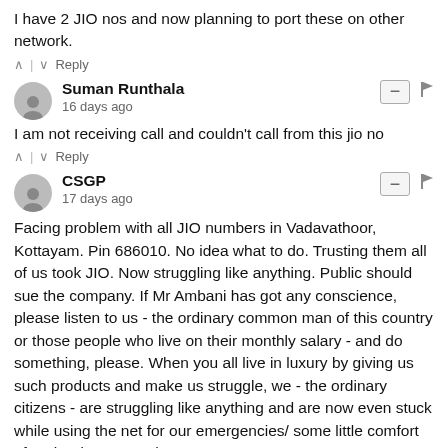I have 2 JIO nos and now planning to port these on other network.
^ | v  Reply
Suman Runthala
16 days ago
I am not receiving call and couldn't call from this jio no
^ | v  Reply
CSGP
17 days ago
Facing problem with all JIO numbers in Vadavathoor, Kottayam. Pin 686010. No idea what to do. Trusting them all of us took JIO. Now struggling like anything. Public should sue the company. If Mr Ambani has got any conscience, please listen to us - the ordinary common man of this country or those people who live on their monthly salary - and do something, please. When you all live in luxury by giving us such products and make us struggle, we - the ordinary citizens - are struggling like anything and are now even stuck while using the net for our emergencies/ some little comfort after the days struggle!!